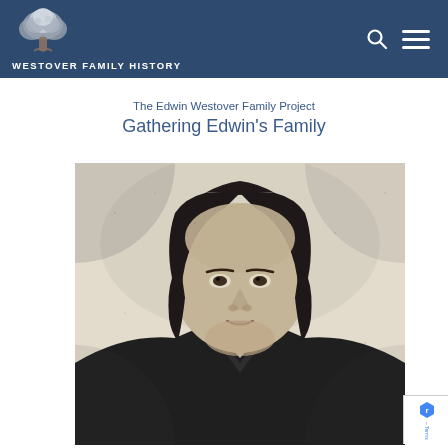WESTOVER FAMILY HISTORY
The Edwin Westover Family Project
Gathering Edwin's Family
[Figure (photo): Black and white portrait photograph of a young man with medium-length dark hair parted in the middle, wearing a dark coat. Vintage style photograph with slightly grainy texture on off-white background.]
Terms